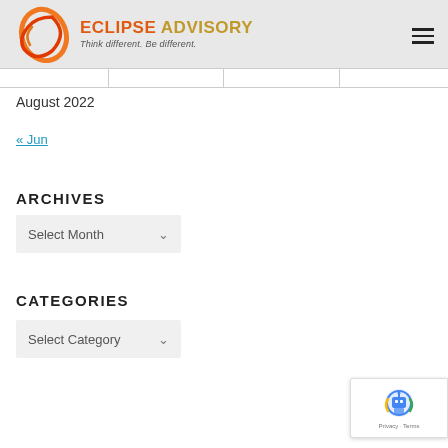Eclipse Advisory — Think different. Be different.
|   |   |   |   |
August 2022
« Jun
ARCHIVES
Select Month
CATEGORIES
Select Category
[Figure (logo): reCAPTCHA badge with robot icon and Privacy/Terms links]